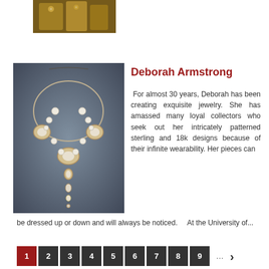[Figure (photo): Partial view of gold jewelry piece on dark fabric background]
[Figure (photo): Necklace with white and pearl beads, medallions and chain in silver/gold tones on grey background]
Deborah Armstrong
For almost 30 years, Deborah has been creating exquisite jewelry. She has amassed many loyal collectors who seek out her intricately patterned sterling and 18k designs because of their infinite wearability. Her pieces can be dressed up or down and will always be noticed.    At the University of...
Share